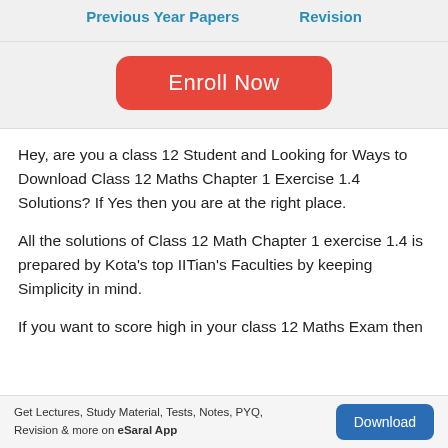Previous Year Papers    Revision
[Figure (other): Enroll Now button (red rounded rectangle)]
Hey, are you a class 12 Student and Looking for Ways to Download Class 12 Maths Chapter 1 Exercise 1.4 Solutions? If Yes then you are at the right place.
All the solutions of Class 12 Math Chapter 1 exercise 1.4 is prepared by Kota's top IITian's Faculties by keeping Simplicity in mind.
If you want to score high in your class 12 Maths Exam then
Get Lectures, Study Material, Tests, Notes, PYQ, Revision & more on eSaral App    Download